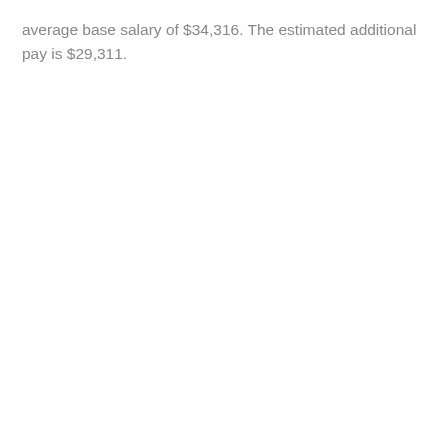average base salary of $34,316. The estimated additional pay is $29,311.